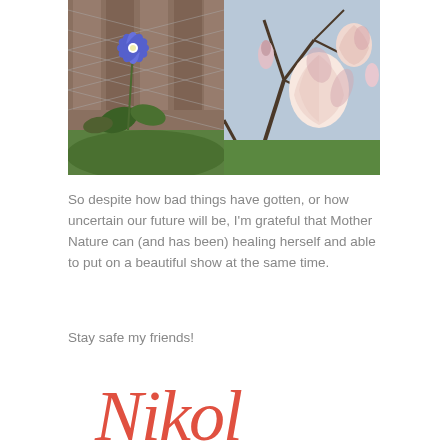[Figure (photo): Two side-by-side photos of flowers: left shows a blue chicory-like flower against a chain-link fence with moss and greenery; right shows pink magnolia blossoms on bare branches in sunlight.]
So despite how bad things have gotten, or how uncertain our future will be, I'm grateful that Mother Nature can (and has been) healing herself and able to put on a beautiful show at the same time.
Stay safe my friends!
Nikol